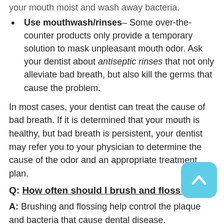Use mouthwash/rinses– Some over-the-counter products only provide a temporary solution to mask unpleasant mouth odor. Ask your dentist about antiseptic rinses that not only alleviate bad breath, but also kill the germs that cause the problem.
In most cases, your dentist can treat the cause of bad breath. If it is determined that your mouth is healthy, but bad breath is persistent, your dentist may refer you to your physician to determine the cause of the odor and an appropriate treatment plan.
Q: How often should I brush and floss?
A: Brushing and flossing help control the plaque and bacteria that cause dental disease.
Plaque is a film of food debris, bacteria, and saliva that...